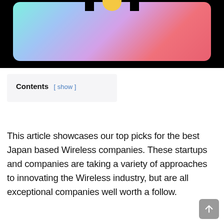[Figure (screenshot): Partial screenshot of a colorful gradient graphic with cyan-to-pink gradient background on black, featuring a yellow circular element at top center and two small black rectangles on either side.]
Contents [ show ]
This article showcases our top picks for the best Japan based Wireless companies. These startups and companies are taking a variety of approaches to innovating the Wireless industry, but are all exceptional companies well worth a follow.